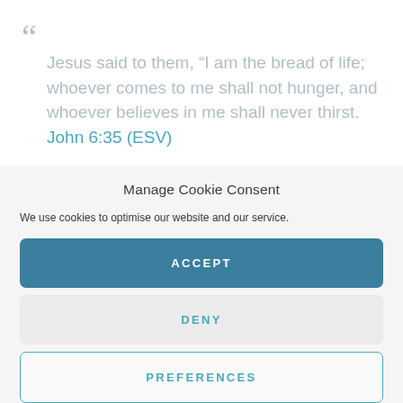“Jesus said to them, “I am the bread of life; whoever comes to me shall not hunger, and whoever believes in me shall never thirst. John 6:35 (ESV)
Manage Cookie Consent
We use cookies to optimise our website and our service.
ACCEPT
DENY
PREFERENCES